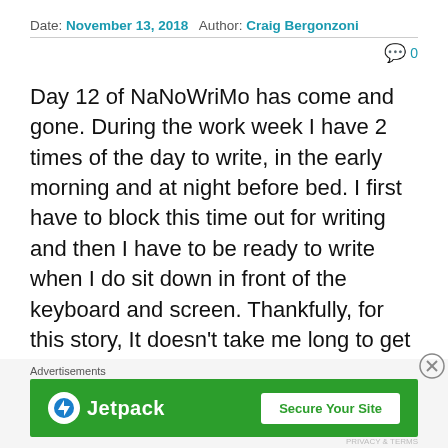Date: November 13, 2018   Author: Craig Bergonzoni   💬 0
Day 12 of NaNoWriMo has come and gone. During the work week I have 2 times of the day to write, in the early morning and at night before bed. I first have to block this time out for writing and then I have to be ready to write when I do sit down in front of the keyboard and screen. Thankfully, for this story, It doesn't take me long to get started once I sit down since I have a ton of material already on paper. That doesn't mean I don't hit road blocks.
Advertisements
[Figure (other): Jetpack advertisement banner with green background showing Jetpack logo and 'Secure Your Site' button]